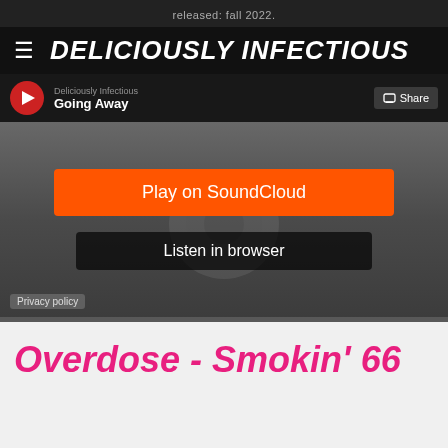released: fall 2022.
DELICIOUSLY INFECTIOUS
[Figure (screenshot): SoundCloud embedded player showing 'Deliciously Infectious' with track 'Going Away', featuring a Play on SoundCloud button, Listen in browser button, and Privacy policy link, overlaid on a dark background with blurred album art]
Overdose - Smokin' 66